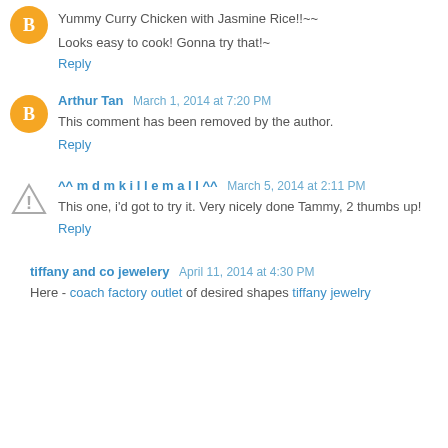Yummy Curry Chicken with Jasmine Rice!!~~

Looks easy to cook! Gonna try that!~
Reply
Arthur Tan  March 1, 2014 at 7:20 PM
This comment has been removed by the author.
Reply
^^ m d m k i l l e m a l l ^^  March 5, 2014 at 2:11 PM
This one, i'd got to try it. Very nicely done Tammy, 2 thumbs up!
Reply
tiffany and co jewelery  April 11, 2014 at 4:30 PM
Here - coach factory outlet of desired shapes tiffany jewelry